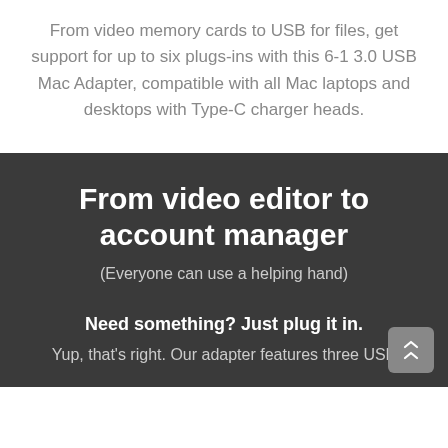From video memory cards to USB for files, get support for up to six plugs-ins with this 6-1 3.0 USB Mac Adapter, compatible with all Mac laptops and desktops with Type-C charger heads.
From video editor to account manager
(Everyone can use a helping hand)
Need something? Just plug it in.
Yup, that's right. Our adapter features three USB